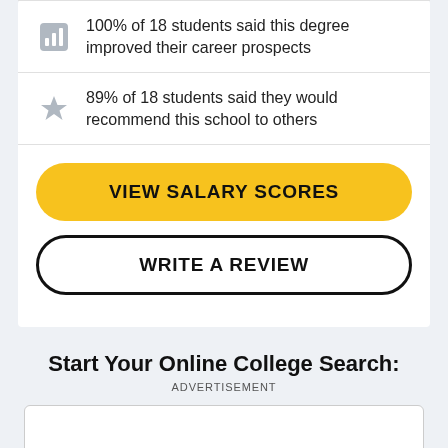100% of 18 students said this degree improved their career prospects
89% of 18 students said they would recommend this school to others
VIEW SALARY SCORES
WRITE A REVIEW
Start Your Online College Search:
ADVERTISEMENT